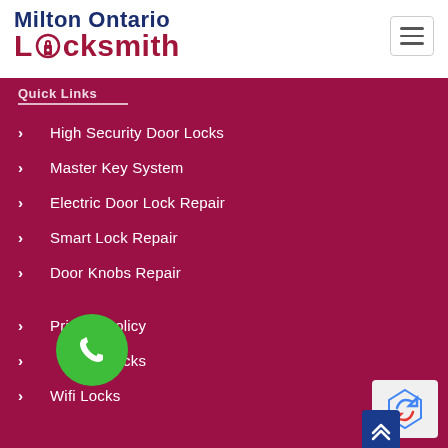[Figure (logo): Milton Ontario Locksmith logo with padlock icon in the letter O]
[Figure (other): Hamburger menu button (three horizontal lines) in top right corner]
Quick Links
High Security Door Locks
Master Key System
Electric Door Lock Repair
Smart Lock Repair
Door Knobs Repair
Privacy Policy
Deadbolt Locks
Wifi Locks
[Figure (other): Green circular WhatsApp phone button]
[Figure (other): reCAPTCHA badge in bottom right corner]
[Figure (other): Blue scroll-to-top button with chevron arrows]